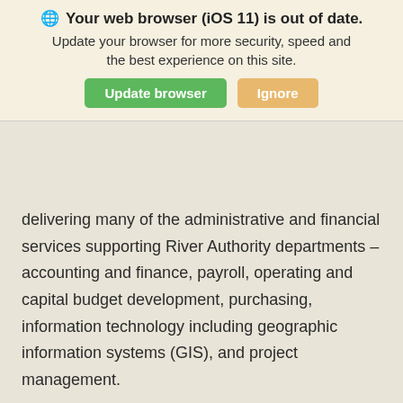[Figure (screenshot): Browser update warning banner overlay: 'Your web browser (iOS 11) is out of date. Update your browser for more security, speed and the best experience on this site.' with green 'Update browser' button and orange 'Ignore' button.]
delivering many of the administrative and financial services supporting River Authority departments – accounting and finance, payroll, operating and capital budget development, purchasing, information technology including geographic information systems (GIS), and project management.
Prior to joining the River Authority, Rick held executive roles in finance and administration and information technology at Texas A&M University-San Antonio. During his six plus